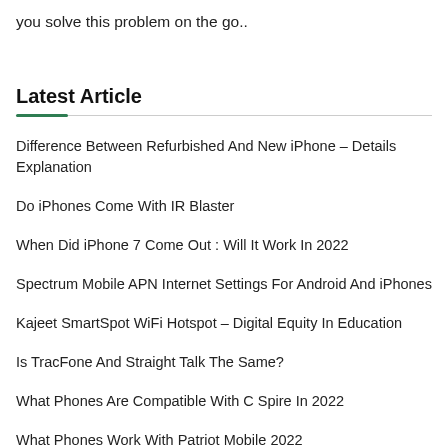you solve this problem on the go..
Latest Article
Difference Between Refurbished And New iPhone – Details Explanation
Do iPhones Come With IR Blaster
When Did iPhone 7 Come Out : Will It Work In 2022
Spectrum Mobile APN Internet Settings For Android And iPhones
Kajeet SmartSpot WiFi Hotspot – Digital Equity In Education
Is TracFone And Straight Talk The Same?
What Phones Are Compatible With C Spire In 2022
What Phones Work With Patriot Mobile 2022
List Of Republic Wireless Compatible Phones In 2022